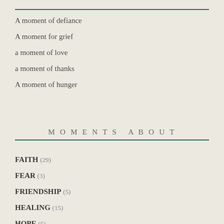A moment of defiance
A moment for grief
a moment of love
a moment of thanks
A moment of hunger
MOMENTS ABOUT
FAITH (29)
FEAR (3)
FRIENDSHIP (5)
HEALING (15)
HOPE (5)